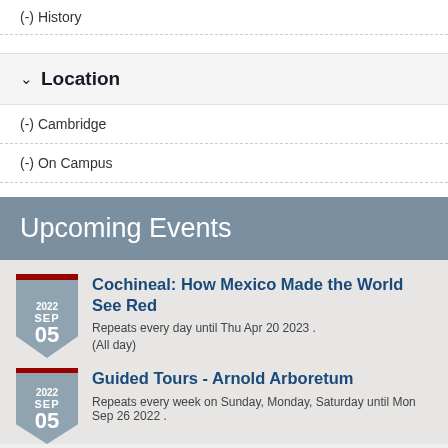(-) History
Location
(-) Cambridge
(-) On Campus
Upcoming Events
2022 SEP 05 — Cochineal: How Mexico Made the World See Red
Repeats every day until Thu Apr 20 2023 .
(All day)
2022 SEP 05 — Guided Tours - Arnold Arboretum
Repeats every week on Sunday, Monday, Saturday until Mon Sep 26 2022 .